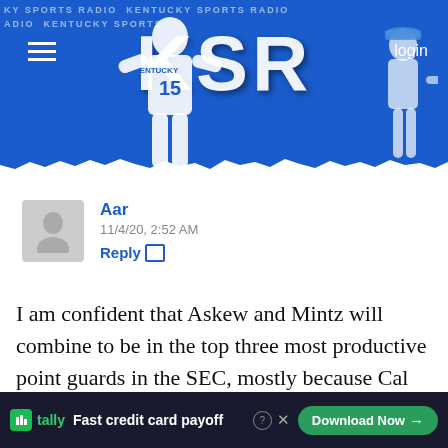[Figure (screenshot): KSR (Kentucky Sports Radio) website header banner with blue background, basketball player wearing Kentucky #15 jersey, KSR logo text, hamburger menu icon, and login button]
Aar
11/4/20, 2:52 AM
Reply
I am confident that Askew and Mintz will combine to be in the top three most productive point guards in the SEC, mostly because Cal will demand it. However, I really like the way Clark and, to a lesser degree, Boston play on the ball and the frontcourt all seem to have above average handles. Thus. I would be comfortable if
[Figure (screenshot): Tally advertisement banner: 'Fast credit card payoff' with green Tally logo, Download Now button, help and close icons on dark background]